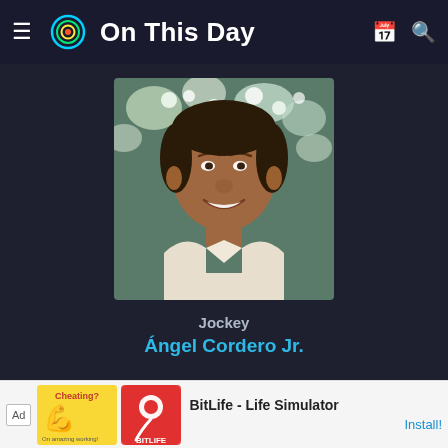On This Day
[Figure (photo): Portrait photo of a smiling middle-aged man of Hispanic descent, wearing a light beige/white collared shirt, with flowers in the background. This is Ángel Cordero Jr.]
Jockey
Ángel Cordero Jr.
Oct 17 News anchor Bree Walker Lampley files an FCC complaint that LA radio KFI-AM personally attacked her b
[Figure (screenshot): Ad banner for BitLife - Life Simulator app. Shows a yellow ad image with a flexing arm emoji style graphic labeled 'Cheating?' and a red BitLife logo, with text 'BitLife - Life Simulator' and 'Install!' button.]